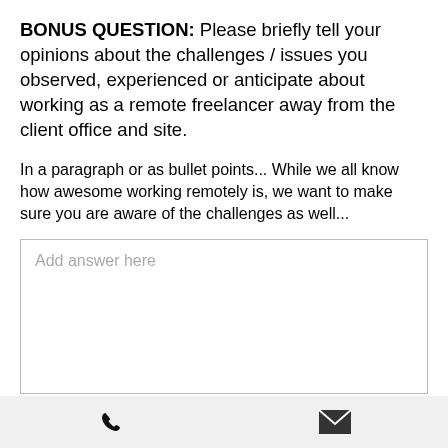BONUS QUESTION: Please briefly tell your opinions about the challenges / issues you observed, experienced or anticipate about working as a remote freelancer away from the client office and site.
In a paragraph or as bullet points... While we all know how awesome working remotely is, we want to make sure you are aware of the challenges as well...
[Figure (other): Text input box with placeholder text 'Add answer here']
Phone icon and email icon